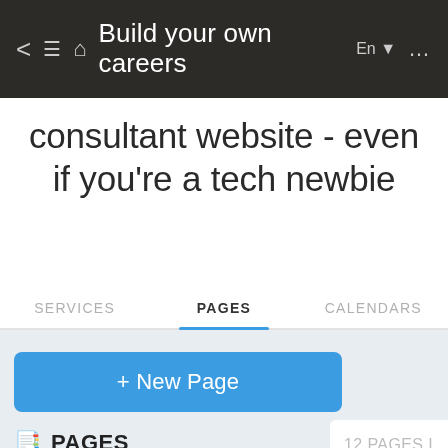Build your own careers consultant website - even if you're a tech newbie
Build your own careers consultant website - even if you're a tech newbie
SERVICES   PAGES   CALENDARS
[Figure (screenshot): Mobile app UI showing a Pages tab selected with a blue underline, a blue '+ New Page' button, a PAGES section header with a book icon, a 'My pages' list item, and '12 PAGES' text on the right side.]